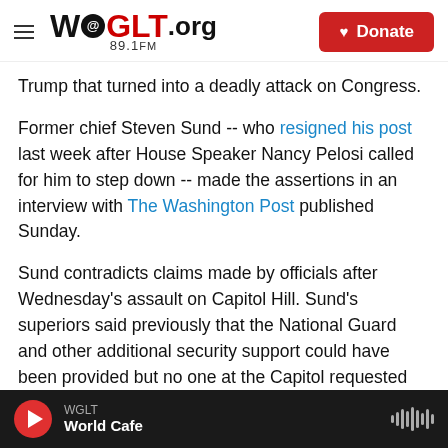WGLT.org 89.1FM | Donate
Trump that turned into a deadly attack on Congress.
Former chief Steven Sund -- who resigned his post last week after House Speaker Nancy Pelosi called for him to step down -- made the assertions in an interview with The Washington Post published Sunday.
Sund contradicts claims made by officials after Wednesday's assault on Capitol Hill. Sund's superiors said previously that the National Guard and other additional security support could have been provided but no one at the Capitol requested
WGLT | World Cafe